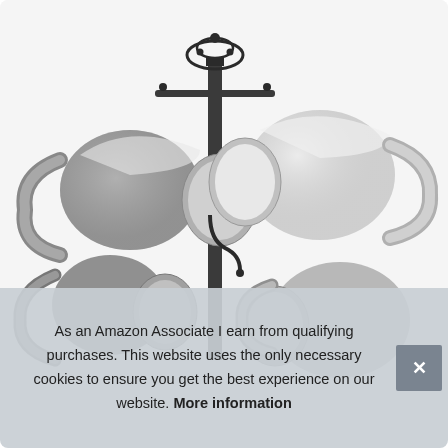[Figure (photo): Gray and white ceramic coffee mugs hanging on a black metal mug tree/rack stand against a white background]
As an Amazon Associate I earn from qualifying purchases. This website uses the only necessary cookies to ensure you get the best experience on our website. More information